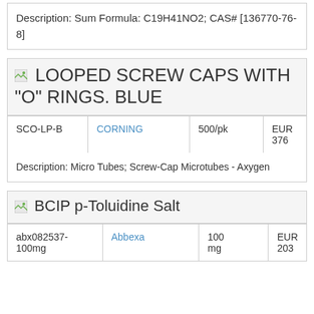Description: Sum Formula: C19H41NO2; CAS# [136770-76-8]
LOOPED SCREW CAPS WITH "O" RINGS. BLUE
|  |  |  |  |
| --- | --- | --- | --- |
| SCO-LP-B | CORNING | 500/pk | EUR 376 |
Description: Micro Tubes; Screw-Cap Microtubes - Axygen
BCIP p-Toluidine Salt
|  |  |  |  |
| --- | --- | --- | --- |
| abx082537-100mg | Abbexa | 100 mg | EUR 203 |